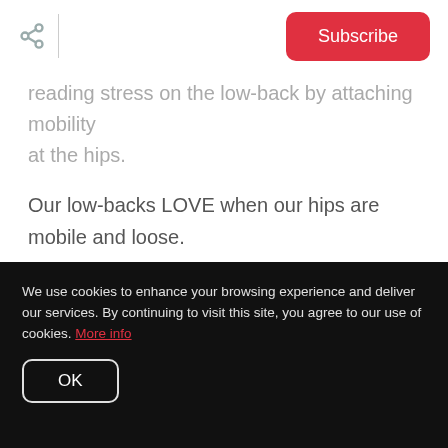Subscribe
reading stress on the low-back by attaching mobility at the hips.
Our low-backs LOVE when our hips are mobile and loose.
When individuals sit in a hips flexed position for prolonged periods of time the hips stiffen.
We use cookies to enhance your browsing experience and deliver our services. By continuing to visit this site, you agree to our use of cookies. More info
OK